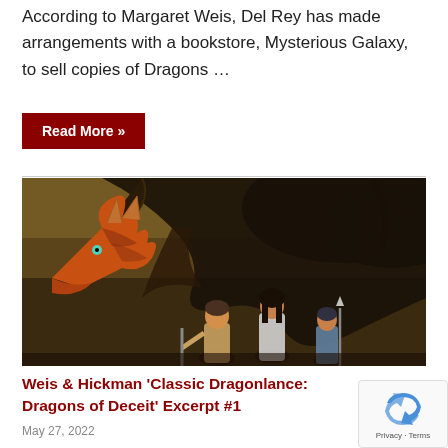According to Margaret Weis, Del Rey has made arrangements with a bookstore, Mysterious Galaxy, to sell copies of Dragons …
Read More »
[Figure (illustration): Fantasy illustration showing a large dragon with orange/red coloring looming over three human adventurers standing in a dramatic pose against a dark, tree-filled background.]
Weis & Hickman 'Classic Dragonlance: Dragons of Deceit' Excerpt #1
May 27, 2022